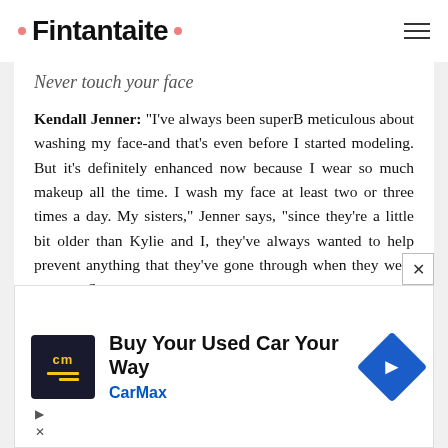Fintantaite
Never touch your face
Kendall Jenner: "I've always been superB meticulous about washing my face-and that's even before I started modeling. But it's definitely enhanced now because I wear so much makeup all the time. I wash my face at least two or three times a day. My sisters," Jenner says, "since they're a little bit older than Kylie and I, they've always wanted to help prevent anything that they've gone through when they were our age. So
[Figure (screenshot): CarMax advertisement: Buy Your Used Car Your Way]